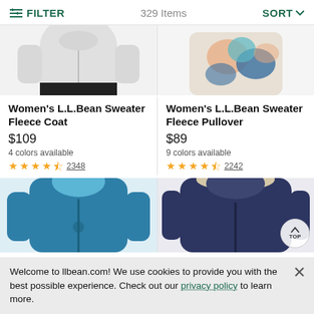FILTER   329 Items   SORT
[Figure (photo): Partial view of Women's L.L.Bean Sweater Fleece Coat in gray, showing torso and arms]
[Figure (photo): Partial view of Women's L.L.Bean Sweater Fleece Pullover with colorful pattern]
Women's L.L.Bean Sweater Fleece Coat
$109
4 colors available
★★★★½ 2348
Women's L.L.Bean Sweater Fleece Pullover
$89
9 colors available
★★★★½ 2242
[Figure (photo): Teal/blue hooded puffer jacket]
[Figure (photo): Navy blue hooded puffer jacket with fur trim]
Welcome to llbean.com! We use cookies to provide you with the best possible experience. Check out our privacy policy to learn more.